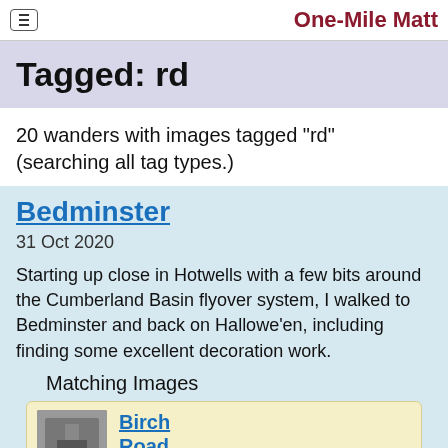One-Mile Matt
Tagged: rd
20 wanders with images tagged "rd" (searching all tag types.)
Bedminster
31 Oct 2020
Starting up close in Hotwells with a few bits around the Cumberland Basin flyover system, I walked to Bedminster and back on Hallowe'en, including finding some excellent decoration work.
Matching Images
Birch Road
Tags: Bristol Places UK onemilematt united kingdom